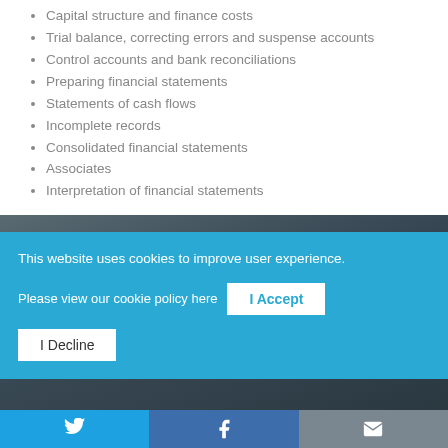Capital structure and finance costs
Trial balance, correcting errors and suspense accounts
Control accounts and bank reconciliations
Preparing financial statements
Statements of cash flows
Incomplete records
Consolidated financial statements
Associates
Interpretation of financial statements
SPOTLIGHT
This website uses cookies to improve user experience.
Please view our cookie policy here
I Accept
I Decline
[Figure (screenshot): Dark background photo section showing bottom of page with social sharing buttons for Twitter, Facebook, and email]